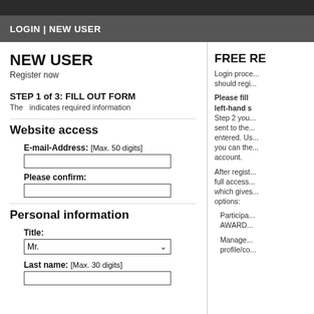LOGIN | NEW USER
NEW USER
Register now
STEP 1 of 3: FILL OUT FORM
The  indicates required information
Website access
E-mail-Address: [Max. 50 digits]
Please confirm:
Personal information
Title:
Last name: [Max. 30 digits]
FREE RE...
Login proce... should regi...
Please fill ... left-hand s... Step 2 you... sent to the... entered. Us... you can the... account.
After regist... full access... which gives... options:
Participa... AWARD...
Manage... profile/co...